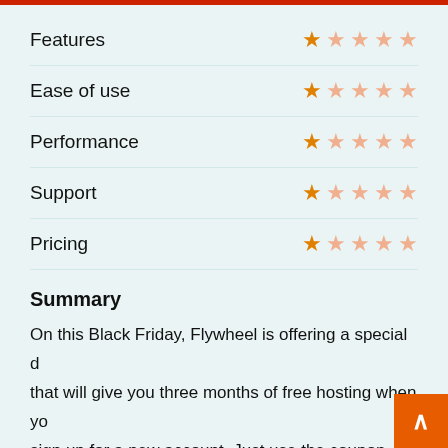Features — 1 out of 5 stars
Ease of use — 1 out of 5 stars
Performance — 1 out of 5 stars
Support — 1 out of 5 stars
Pricing — 1 out of 5 stars
Summary
On this Black Friday, Flywheel is offering a special d… that will give you three months of free hosting when you sign up for a new account. Just use the coupon